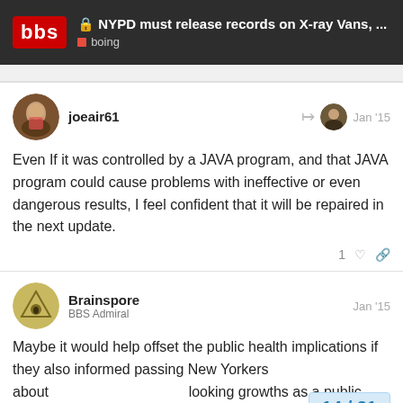🔒 NYPD must release records on X-ray Vans, ... | boing
joeair61 — Jan '15
Even If it was controlled by a JAVA program, and that JAVA program could cause problems with ineffective or even dangerous results, I feel confident that it will be repaired in the next update.
Brainspore — BBS Admiral — Jan '15
Maybe it would help offset the public health implications if they also informed passing New Yorkers about looking growths as a public service.
14 / 21